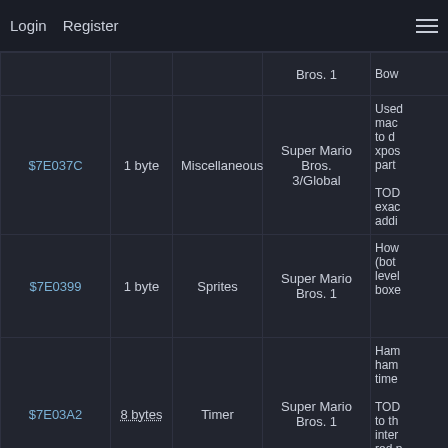Login   Register
| Address | Size | Category | Game | Description |
| --- | --- | --- | --- | --- |
|  |  |  | Bros. 1 | Bow... |
| $7E037C | 1 byte | Miscellaneous | Super Mario Bros. 3/Global | Used mac to d xpos part

TOD exac addi |
| $7E0399 | 1 byte | Sprites | Super Mario Bros. 1 | How (bot level boxe |
| $7E03A2 | 8 bytes | Timer | Super Mario Bros. 1 | Ham ham time

TOD to th inter red p |